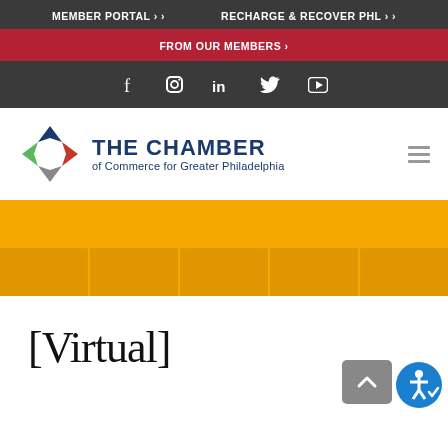MEMBER PORTAL › RECHARGE & RECOVER PHL ›
FROM OUR MEMBERS ›
[Figure (screenshot): Social media icons: Facebook, Instagram, LinkedIn, Twitter, YouTube]
[Figure (logo): The Chamber of Commerce for Greater Philadelphia logo with star icon in navy, green, gray, and red, and text 'THE CHAMBER of Commerce for Greater Philadelphia' in navy blue]
[Figure (photo): Yellow/gold banner with darker amber square pattern along the bottom]
[Virtual]